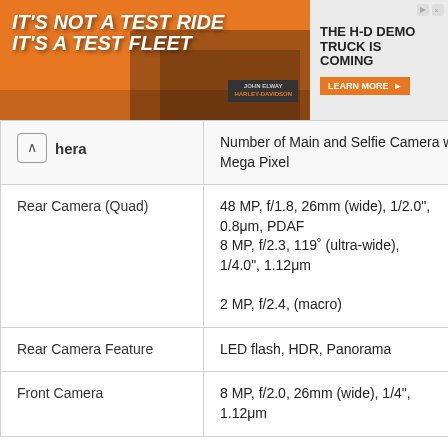[Figure (photo): Harley-Davidson advertisement banner: orange background with motorcycles, text 'IT'S NOT A TEST RIDE IT'S A TEST FLEET', John Elway Harley-Davidson branding. Right side: 'THE H-D DEMO TRUCK IS COMING' with 'LEARN MORE' button.]
| Camera | Number of Main and Selfie Camera with Mega Pixel |
| --- | --- |
| Rear Camera (Quad) | 48 MP, f/1.8, 26mm (wide), 1/2.0", 0.8μm, PDAF
8 MP, f/2.3, 119° (ultra-wide), 1/4.0", 1.12μm
2 MP, f/2.4, (macro) |
| Rear Camera Feature | LED flash, HDR, Panorama |
| Front Camera | 8 MP, f/2.0, 26mm (wide), 1/4", 1.12μm |